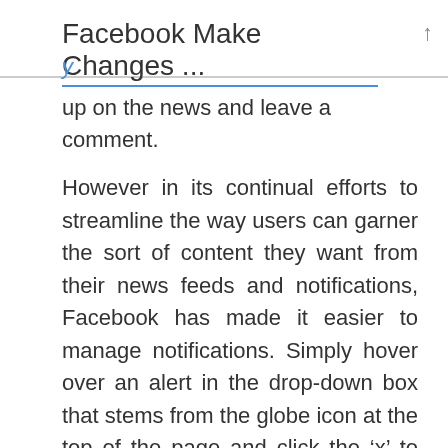Facebook Make Changes ...
up on the news and leave a comment.
However in its continual efforts to streamline the way users can garner the sort of content they want from their news feeds and notifications, Facebook has made it easier to manage notifications. Simply hover over an alert in the drop-down box that stems from the globe icon at the top of the page and click the ‘x’ to turn off notifications from that certain app, group, event or post that you commented on.